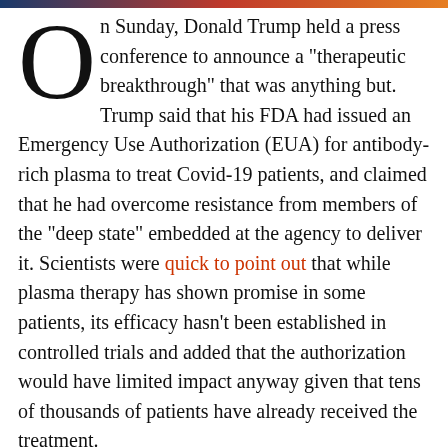[decorative header bar]
On Sunday, Donald Trump held a press conference to announce a "therapeutic breakthrough" that was anything but. Trump said that his FDA had issued an Emergency Use Authorization (EUA) for antibody-rich plasma to treat Covid-19 patients, and claimed that he had overcome resistance from members of the "deep state" embedded at the agency to deliver it. Scientists were quick to point out that while plasma therapy has shown promise in some patients, its efficacy hasn't been established in controlled trials and added that the authorization would have limited impact anyway given that tens of thousands of patients have already received the treatment.